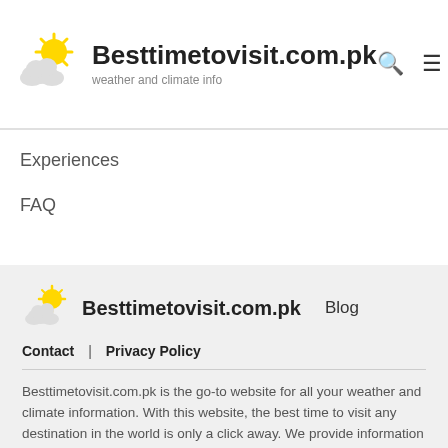Besttimetovisit.com.pk — weather and climate info
Experiences
FAQ
Besttimetovisit.com.pk  Blog  Contact  Privacy Policy
Besttimetovisit.com.pk is the go-to website for all your weather and climate information. With this website, the best time to visit any destination in the world is only a click away. We provide information on current weather conditions as well as average climate data from past 30 years. All data comes from official meteorological institutes around the globe.